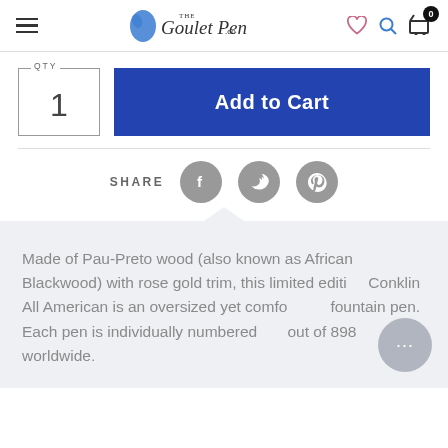[Figure (screenshot): Goulet Pen Co. website header with hamburger menu, logo, heart icon, search icon, and cart with badge showing 0]
QTY
1
Add to Cart
[Figure (infographic): SHARE label with three social media icons: Facebook, Twitter, Pinterest]
Made of Pau-Preto wood (also known as African Blackwood) with rose gold trim, this limited edition Conklin All American is an oversized yet comfortable fountain pen. Each pen is individually numbered out of 898 worldwide.